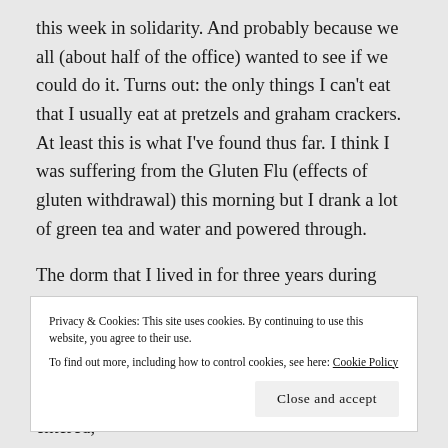this week in solidarity. And probably because we all (about half of the office) wanted to see if we could do it. Turns out: the only things I can't eat that I usually eat at pretzels and graham crackers. At least this is what I've found thus far. I think I was suffering from the Gluten Flu (effects of gluten withdrawal) this morning but I drank a lot of green tea and water and powered through.
The dorm that I lived in for three years during college is being sold. I had one of the rooms that was basically a
Privacy & Cookies: This site uses cookies. By continuing to use this website, you agree to their use. To find out more, including how to control cookies, see here: Cookie Policy
stay, having our IDs inspected every time we entered,